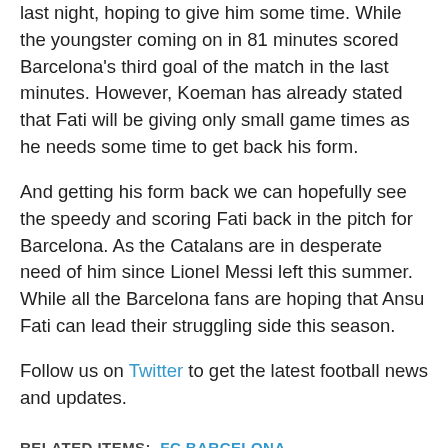last night, hoping to give him some time. While the youngster coming on in 81 minutes scored Barcelona's third goal of the match in the last minutes. However, Koeman has already stated that Fati will be giving only small game times as he needs some time to get back his form.
And getting his form back we can hopefully see the speedy and scoring Fati back in the pitch for Barcelona. As the Catalans are in desperate need of him since Lionel Messi left this summer. While all the Barcelona fans are hoping that Ansu Fati can lead their struggling side this season.
Follow us on Twitter to get the latest football news and updates.
RELATED ITEMS: FC BARCELONA